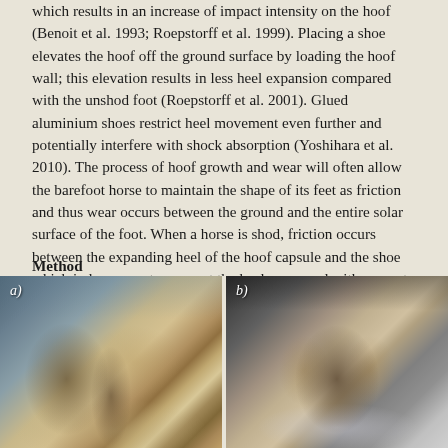which results in an increase of impact intensity on the hoof (Benoit et al. 1993; Roepstorff et al. 1999). Placing a shoe elevates the hoof off the ground surface by loading the hoof wall; this elevation results in less heel expansion compared with the unshod foot (Roepstorff et al. 2001). Glued aluminium shoes restrict heel movement even further and potentially interfere with shock absorption (Yoshihara et al. 2010). The process of hoof growth and wear will often allow the barefoot horse to maintain the shape of its feet as friction and thus wear occurs between the ground and the entire solar surface of the foot. When a horse is shod, friction occurs between the expanding heel of the hoof capsule and the shoe which induces greater wear at the heel compared with wear at the toe which, over time, will change the conformation of the foot (Fig 2) (Moleman et al. 2006).
Method
The Trim
[Figure (photo): Panel a) showing bottom view of horse hoof before trim, with visible frog and hoof wall structures, brownish coloration]
[Figure (photo): Panel b) showing bottom view of horse hoof after trim, with visible frog and hoof wall structures, more uniform appearance with grey tones]